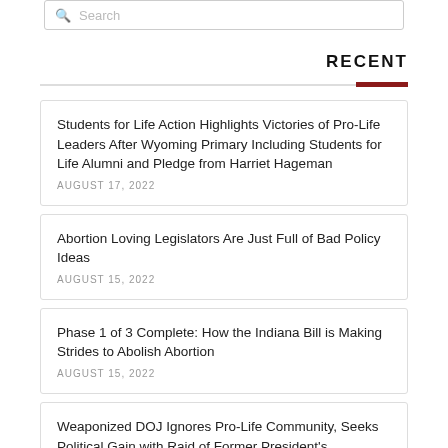Search
RECENT
Students for Life Action Highlights Victories of Pro-Life Leaders After Wyoming Primary Including Students for Life Alumni and Pledge from Harriet Hageman
AUGUST 17, 2022
Abortion Loving Legislators Are Just Full of Bad Policy Ideas
AUGUST 15, 2022
Phase 1 of 3 Complete: How the Indiana Bill is Making Strides to Abolish Abortion
AUGUST 15, 2022
Weaponized DOJ Ignores Pro-Life Community, Seeks Political Gain with Raid of Former President's